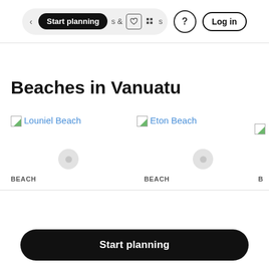Start planning · s & tivities · ? · Log in
Beaches in Vanuatu
[Figure (screenshot): Broken image placeholder for Louniel Beach with blue link text]
[Figure (screenshot): Broken image placeholder for Eton Beach with blue link text]
BEACH
BEACH
Start planning